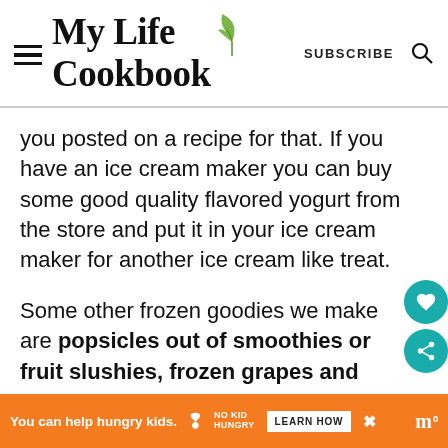My Life Cookbook
you posted on a recipe for that. If you have an ice cream maker you can buy some good quality flavored yogurt from the store and put it in your ice cream maker for another ice cream like treat.
Some other frozen goodies we make are popsicles out of smoothies or fruit slushies, frozen grapes and y...
[Figure (infographic): No Kid Hungry ad banner: orange background, 'You can help hungry kids.' text with No Kid Hungry logo and LEARN HOW button]